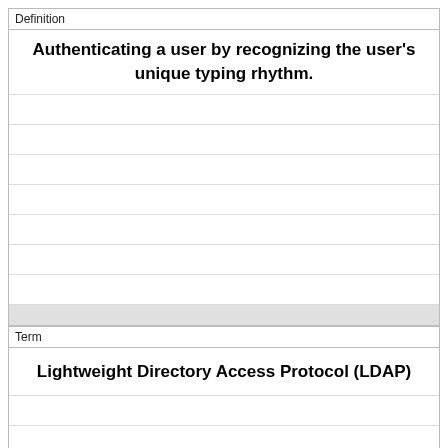| Definition |
| --- |
| Authenticating a user by recognizing the user's unique typing rhythm. |
|  |
|  |
|  |
|  |
|  |
|  |
|  |
| Term |
| --- |
| Lightweight Directory Access Protocol (LDAP) |
|  |
|  |
|  |
|  |